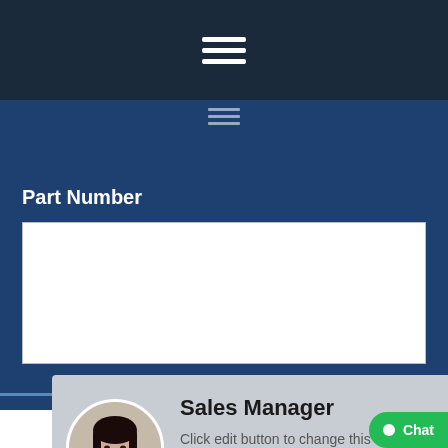[Figure (screenshot): Dark navy top navigation bar with a hamburger menu icon (three horizontal white lines) centered in the bar]
[Figure (screenshot): Smaller secondary hamburger menu icon (three gray horizontal lines) on a medium blue background, just below the top bar]
[Figure (other): Horizontal dotted blue line separator spanning full width]
Part Number
[Figure (screenshot): White rectangular input/text area field for entering a part number]
[Figure (screenshot): Sales Manager profile card with circular avatar photo of a woman with dark hair, title 'Sales Manager', and placeholder lorem ipsum text]
Sales Manager
Click edit button to change this text. Lorem ipsum dolor sit amet consectetur adipiscing elit do
[Figure (screenshot): Green chat button with circle dot icon and 'Chat' label in bottom right corner]